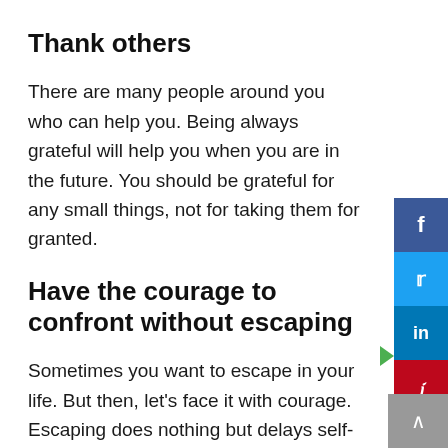Thank others
There are many people around you who can help you. Being always grateful will help you when you are in the future. You should be grateful for any small things, not for taking them for granted.
Have the courage to confront without escaping
Sometimes you want to escape in your life. But then, let's face it with courage. Escaping does nothing but delays self-fulfillment. If you stand with a strong feeling that you will never lose or give up, angels will support you.